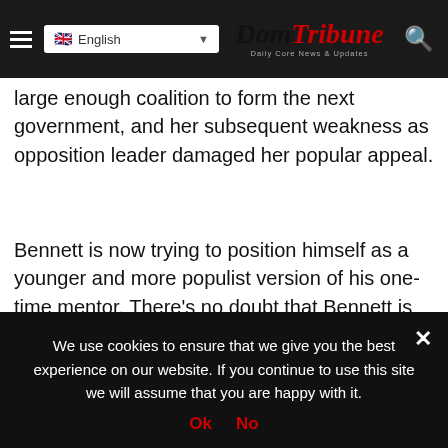English | DomTribune - Daily Core News & Updates
large enough coalition to form the next government, and her subsequent weakness as opposition leader damaged her popular appeal.
Bennett is now trying to position himself as a younger and more populist version of his one-time mentor. There's no doubt that Bennett is charismatic and has grown quite popular. But he leads a small party with a limited base that
We use cookies on our website to give you the most relevant experience by remembering your preferences and repeat visits. By clicking "Accept", you consent to the use
We use cookies to ensure that we give you the best experience on our website. If you continue to use this site we will assume that you are happy with it.
Ok  No